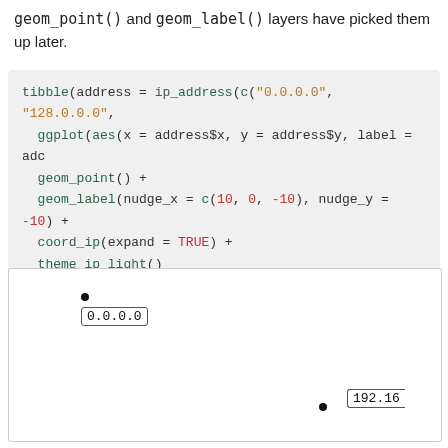geom_point() and geom_label() layers have picked them up later.
tibble(address = ip_address(c("0.0.0.0", "128.0.0.0",
  ggplot(aes(x = address$x, y = address$y, label = adc
  geom_point() +
  geom_label(nudge_x = c(10, 0, -10), nudge_y = -10) +
  coord_ip(expand = TRUE) +
  theme_ip_light()
[Figure (scatter-plot): Plot area showing two labeled points: '0.0.0.0' at upper-left and '192.16...' partially visible at lower-right, with dots and label boxes.]